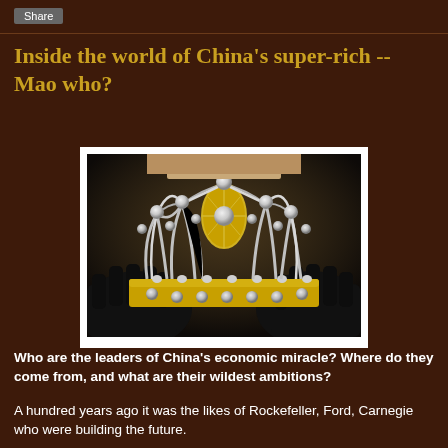Share
Inside the world of China's super-rich -- Mao who?
[Figure (photo): A person wearing black gloves holds up an ornate jeweled crown with pearls and gold detailing.]
Who are the leaders of China's economic miracle? Where do they come from, and what are their wildest ambitions?
A hundred years ago it was the likes of Rockefeller, Ford, Carnegie who were building the future.
With China closing in on America to become the world's